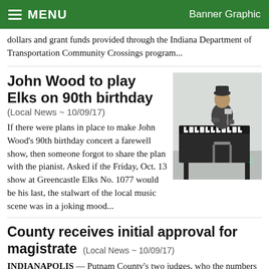MENU   Banner Graphic
dollars and grant funds provided through the Indiana Department of Transportation Community Crossings program...
John Wood to play Elks on 90th birthday
(Local News ~ 10/09/17)
If there were plans in place to make John Wood's 90th birthday concert a farewell show, then someone forgot to share the plan with the pianist. Asked if the Friday, Oct. 13 show at Greencastle Elks No. 1077 would be his last, the stalwart of the local music scene was in a joking mood...
[Figure (photo): Photo of John Wood seated at a keyboard/piano instrument]
County receives initial approval for magistrate
(Local News ~ 10/09/17)
INDIANAPOLIS — Putnam County's two judges, who the numbers say do the work of three judges, will get to appeal to the Indiana General Assembly for additional judicial resources. On Thursday, the Interim Study Committee and Courts and the Judiciary approved requests for additional judicial officers or courts in four counties, including Putnam...